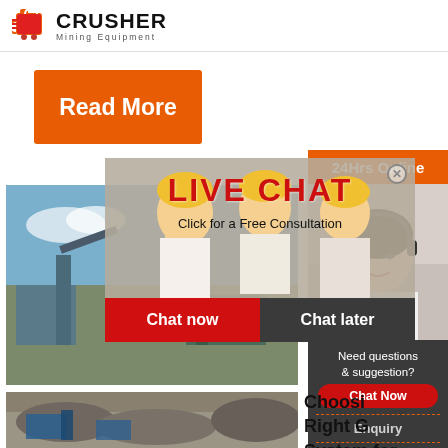[Figure (logo): Crusher Mining Equipment logo with red shopping bag icon and bold black CRUSHER text]
[Figure (infographic): Orange Read More button]
[Figure (photo): Industrial mining facility with conveyor belts and blue sky]
[Figure (infographic): Live Chat overlay with workers in yellow hard hats, LIVE CHAT title in red, Chat now and Chat later buttons]
[Figure (photo): 24Hrs Online label with customer service representative wearing headset]
[Figure (infographic): Dark sidebar widget with Need questions & suggestion text, Chat Now button, Enquiry section, and limingjlmofen@sina.com email]
[Figure (photo): Mining quarry with machinery and rocky terrain]
Choosing the Right Grinding System for